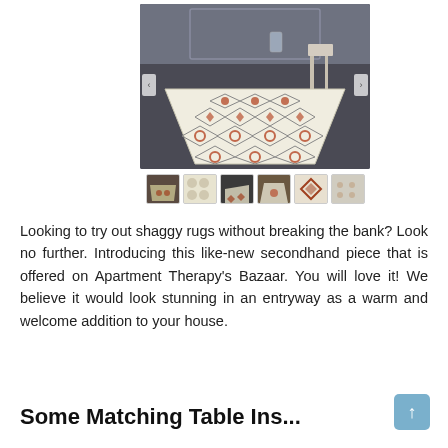[Figure (photo): A shaggy area rug with a cream/ivory background and rust/terracotta diamond geometric pattern, displayed on dark wood flooring with a chair visible in the background. Six thumbnail images shown below the main image.]
Looking to try out shaggy rugs without breaking the bank? Look no further. Introducing this like-new secondhand piece that is offered on Apartment Therapy's Bazaar. You will love it! We believe it would look stunning in an entryway as a warm and welcome addition to your house.
Some Matching Table Inspiration...